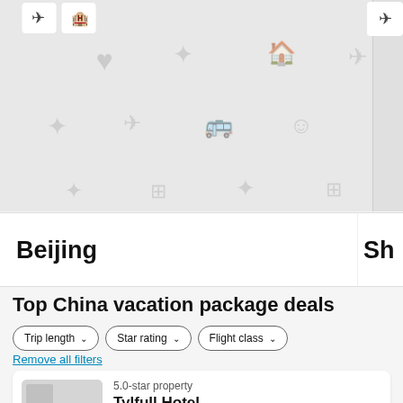[Figure (screenshot): Map area with travel/hotel icons scattered on light gray background. Top-left shows airplane and hotel filter buttons. Right edge shows partial next card.]
Beijing
Sh
Top China vacation package deals
Trip length
Star rating
Flight class
Remove all filters
5.0-star property
Tylfull Hotel
Haidian
4.3/5 Excellent! (29 reviews)